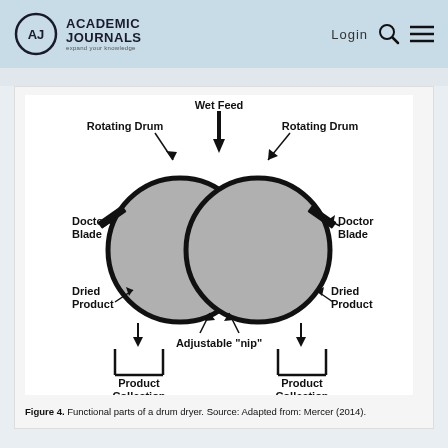ACADEMIC JOURNALS expand your knowledge | Login
[Figure (engineering-diagram): Functional parts of a drum dryer showing two rotating drums side by side with wet feed entering from the top between them, doctor blades on the outer sides, dried product collected below each drum into product collection bins, and an adjustable nip between the two drums.]
Figure 4. Functional parts of a drum dryer. Source: Adapted from: Mercer (2014).